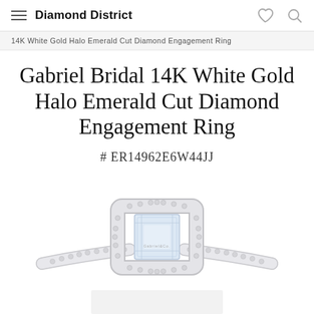Diamond District
14K White Gold Halo Emerald Cut Diamond Engagement Ring
Gabriel Bridal 14K White Gold Halo Emerald Cut Diamond Engagement Ring
# ER14962E6W44JJ
[Figure (photo): Product photo of a white gold emerald cut diamond engagement ring with halo setting and pavé band, shown from above/front angle against white background.]